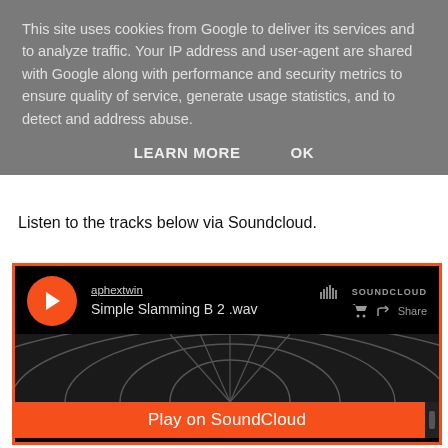This site uses cookies from Google to deliver its services and to analyze traffic. Your IP address and user-agent are shared with Google along with performance and security metrics to ensure quality of service, generate usage statistics, and to detect and address abuse.
LEARN MORE    OK
Listen to the tracks below via Soundcloud.
[Figure (screenshot): Soundcloud embedded player showing track 'Simple Slamming B 2 .wav' by aphextwin, with orange play button, SoundCloud branding, waveform visualization, and orange 'Play on SoundCloud' button at bottom]